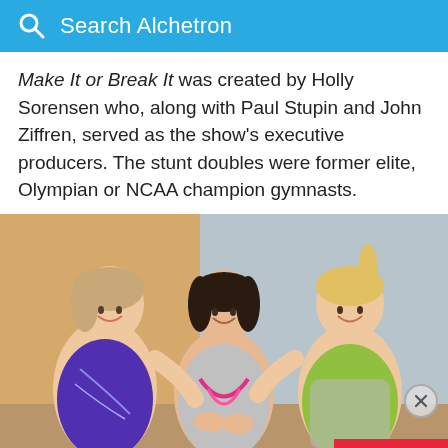Search Alchetron
Make It or Break It was created by Holly Sorensen who, along with Paul Stupin and John Ziffren, served as the show's executive producers. The stunt doubles were former elite, Olympian or NCAA champion gymnasts.
[Figure (photo): Three young women in gymnastics leotards smiling and posing together in a gymnasium setting. Left wears a purple leotard, center wears a silver/pink leotard, right wears a green/gray leotard.]